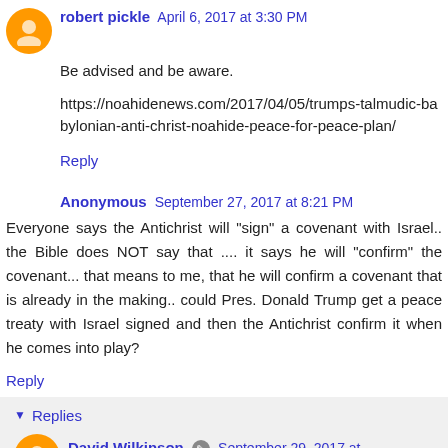robert pickle  April 6, 2017 at 3:30 PM
Be advised and be aware.
https://noahidenews.com/2017/04/05/trumps-talmudic-babylonian-anti-christ-noahide-peace-for-peace-plan/
Reply
Anonymous  September 27, 2017 at 8:21 PM
Everyone says the Antichrist will "sign" a covenant with Israel.. the Bible does NOT say that .... it says he will "confirm" the covenant... that means to me, that he will confirm a covenant that is already in the making.. could Pres. Donald Trump get a peace treaty with Israel signed and then the Antichrist confirm it when he comes into play?
Reply
Replies
David Wilkinson  September 29, 2017 at 10:48 PM